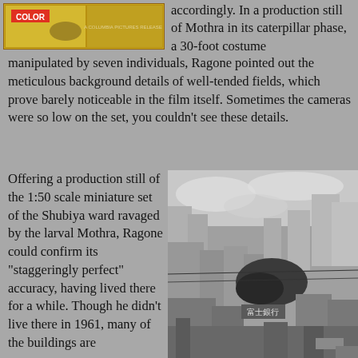[Figure (photo): Film poster/still showing Mothra in color, a Columbia Pictures release]
accordingly. In a production still of Mothra in its caterpillar phase, a 30-foot costume manipulated by seven individuals, Ragone pointed out the meticulous background details of well-tended fields, which prove barely noticeable in the film itself. Sometimes the cameras were so low on the set, you couldn't see these details.
Offering a production still of the 1:50 scale miniature set of the Shubiya ward ravaged by the larval Mothra, Ragone could confirm its "staggeringly perfect" accuracy, having lived there for a while. Though he didn't live there in 1961, many of the buildings are
[Figure (photo): Black and white production still of the 1:50 scale miniature set of Shubiya ward being ravaged by the larval Mothra, showing detailed cityscape with Japanese signage including 富士銀行]